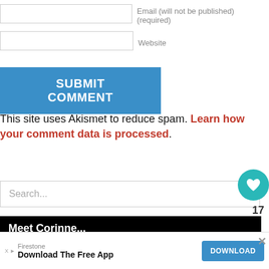Email (will not be published) (required)
Website
SUBMIT COMMENT
This site uses Akismet to reduce spam. Learn how your comment data is processed.
Search...
17
Meet Corinne...
Corinne McDermott founded Have Baby Will Travel to inspire, motivate, and help families travel with babies, toddlers, and young children.
WHAT'S NEXT → Gate Checking Your Stroller...
Firestone
Download The Free App
DOWNLOAD